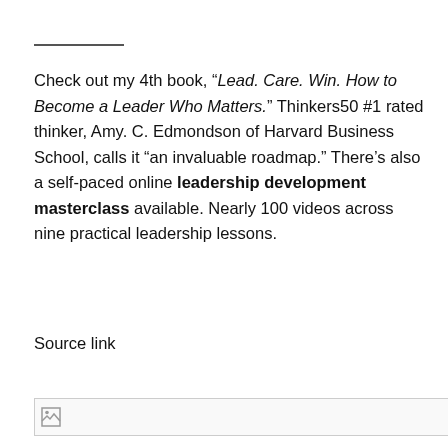Check out my 4th book, “Lead. Care. Win. How to Become a Leader Who Matters.” Thinkers50 #1 rated thinker, Amy. C. Edmondson of Harvard Business School, calls it “an invaluable roadmap.” There’s also a self-paced online leadership development masterclass available. Nearly 100 videos across nine practical leadership lessons.
Source link
[Figure (photo): Broken image placeholder at the bottom of the page]